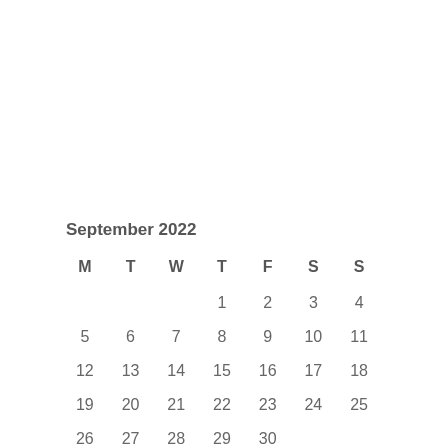September 2022
| M | T | W | T | F | S | S |
| --- | --- | --- | --- | --- | --- | --- |
|  |  |  | 1 | 2 | 3 | 4 |
| 5 | 6 | 7 | 8 | 9 | 10 | 11 |
| 12 | 13 | 14 | 15 | 16 | 17 | 18 |
| 19 | 20 | 21 | 22 | 23 | 24 | 25 |
| 26 | 27 | 28 | 29 | 30 |  |  |